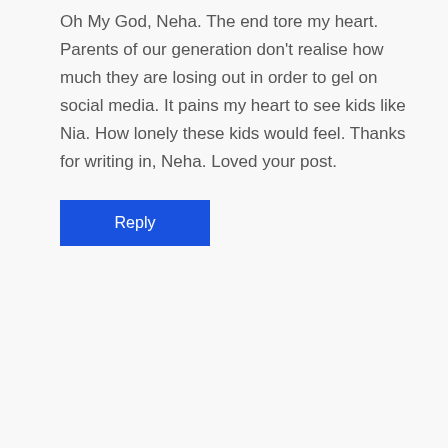Oh My God, Neha. The end tore my heart. Parents of our generation don't realise how much they are losing out in order to gel on social media. It pains my heart to see kids like Nia. How lonely these kids would feel. Thanks for writing in, Neha. Loved your post.
Reply